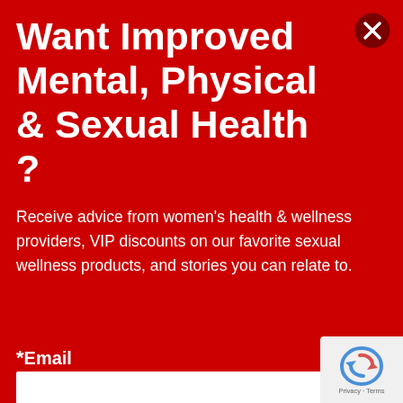Want Improved Mental, Physical & Sexual Health ?
Receive advice from women's health & wellness providers, VIP discounts on our favorite sexual wellness products, and stories you can relate to.
* Email
By submitting this form, you are consenting to receive marketing emails from: She Explores Life, , Portland, OR, 97215, US, http://sheexploreslife.com/. You can revoke your consent to receive emails at any time by using the SafeUnsubscribe® link, found at the bottom of every email. Emails are serviced by Constant Contact.
[Figure (logo): reCAPTCHA badge with Privacy and Terms links]